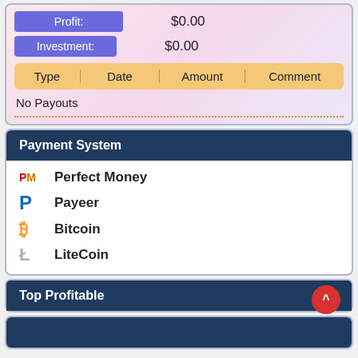| Label | Value |
| --- | --- |
| Profit: | $0.00 |
| Investment: | $0.00 |
| Type | Date | Amount | Comment |
| --- | --- | --- | --- |
| No Payouts |  |  |  |
Payment System
Perfect Money
Payeer
Bitcoin
LiteCoin
Top Profitable